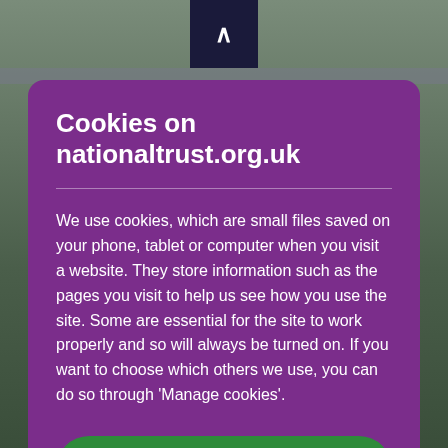[Figure (screenshot): Dark navy blue button with upward chevron arrow at top center of page, above a purple cookie consent modal overlay on a landscape background]
Cookies on nationaltrust.org.uk
We use cookies, which are small files saved on your phone, tablet or computer when you visit a website. They store information such as the pages you visit to help us see how you use the site. Some are essential for the site to work properly and so will always be turned on. If you want to choose which others we use, you can do so through 'Manage cookies'.
Accept all cookies